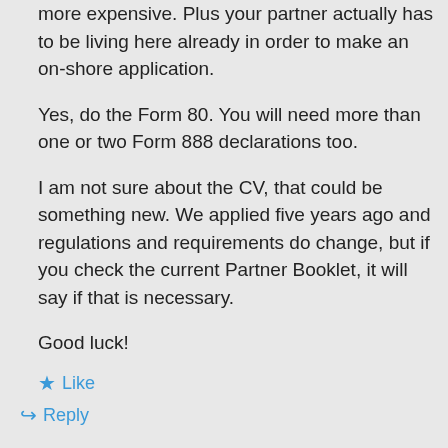more expensive. Plus your partner actually has to be living here already in order to make an on-shore application.
Yes, do the Form 80. You will need more than one or two Form 888 declarations too.
I am not sure about the CV, that could be something new. We applied five years ago and regulations and requirements do change, but if you check the current Partner Booklet, it will say if that is necessary.
Good luck!
Like
Reply